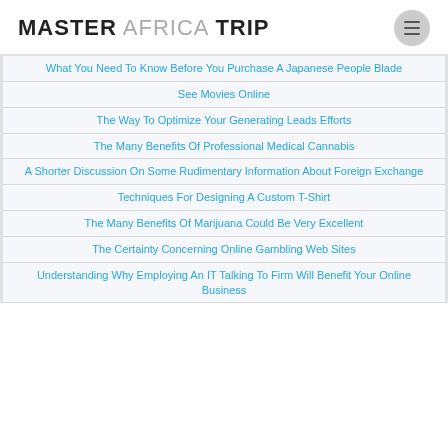MASTER AFRICA TRIP
What You Need To Know Before You Purchase A Japanese People Blade
See Movies Online
The Way To Optimize Your Generating Leads Efforts
The Many Benefits Of Professional Medical Cannabis
A Shorter Discussion On Some Rudimentary Information About Foreign Exchange
Techniques For Designing A Custom T-Shirt
The Many Benefits Of Marijuana Could Be Very Excellent
The Certainty Concerning Online Gambling Web Sites
Understanding Why Employing An IT Talking To Firm Will Benefit Your Online Business